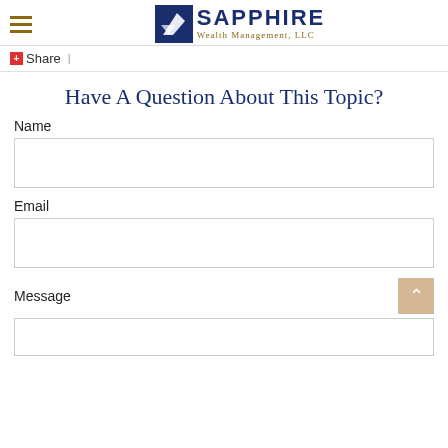Sapphire Wealth Management, LLC
+ Share |
Have A Question About This Topic?
Name
Email
Message